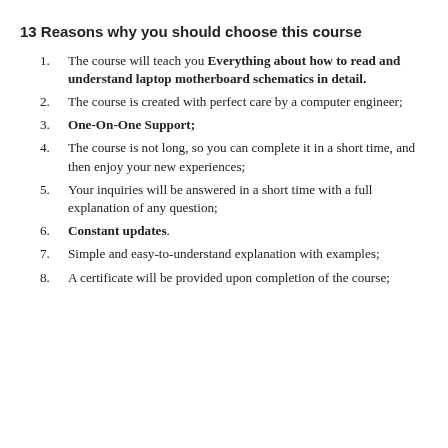13 Reasons why you should choose this course
The course will teach you Everything about how to read and understand laptop motherboard schematics in detail.
The course is created with perfect care by a computer engineer;
One-On-One Support;
The course is not long, so you can complete it in a short time, and then enjoy your new experiences;
Your inquiries will be answered in a short time with a full explanation of any question;
Constant updates.
Simple and easy-to-understand explanation with examples;
A certificate will be provided upon completion of the course;